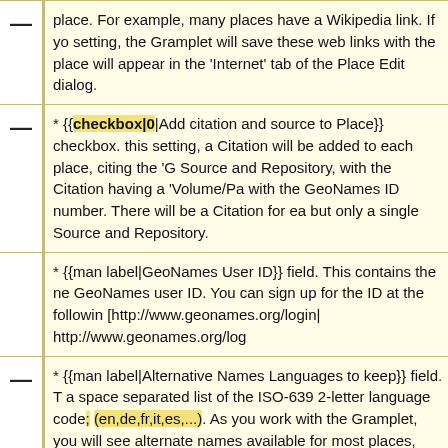place. For example, many places have a Wikipedia link. If you enable this setting, the Gramplet will save these web links with the place and they will appear in the 'Internet' tab of the Place Edit dialog.
* {{checkbox|0|Add citation and source to Place}} checkbox. If you enable this setting, a Citation will be added to each place, citing the 'GeoNames' Source and Repository, with the Citation having a 'Volume/Page' field with the GeoNames ID number. There will be a Citation for each place, but only a single Source and Repository.
* {{man label|GeoNames User ID}} field. This contains the necessary GeoNames user ID. You can sign up for the ID at the following URL: [http://www.geonames.org/login| http://www.geonames.org/login]
* {{man label|Alternative Names Languages to keep}} field. This contains a space separated list of the ISO-639 2-letter language code; (en,de,fr,it,es,...). As you work with the Gramplet, you will see that alternate names available for most places, with the language of those names. If you want these names automatically checked off for inclusion in your Gramps place, add the code to this field.